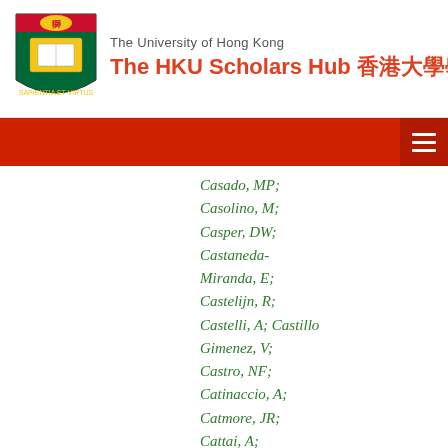The University of Hong Kong — The HKU Scholars Hub 香港大學學術庫
Casado, MP;
Casolino, M;
Casper, DW;
Castaneda-Miranda, E;
Castelijn, R;
Castelli, A; Castillo Gimenez, V;
Castro, NF;
Catinaccio, A;
Catmore, JR;
Cattai, A;
Caudron, J;
Cavaliere, V;
Cavallaro, E;
Cavalli, D; Cavalli-Sforza, M;